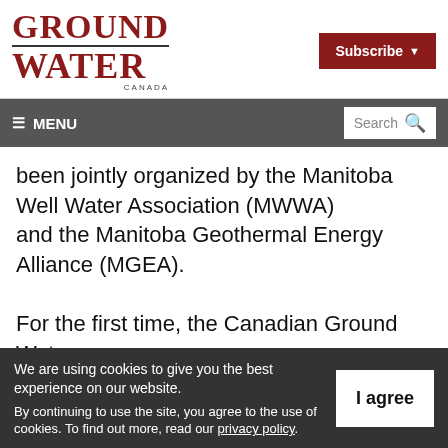[Figure (logo): Ground Water Canada magazine logo with dark red serif text]
Subscribe
≡ MENU   Search 🔍
been jointly organized by the Manitoba Well Water Association (MWWA) and the Manitoba Geothermal Energy Alliance (MGEA).
For the first time, the Canadian Ground Water
We are using cookies to give you the best experience on our website. By continuing to use the site, you agree to the use of cookies. To find out more, read our privacy policy.
I agree